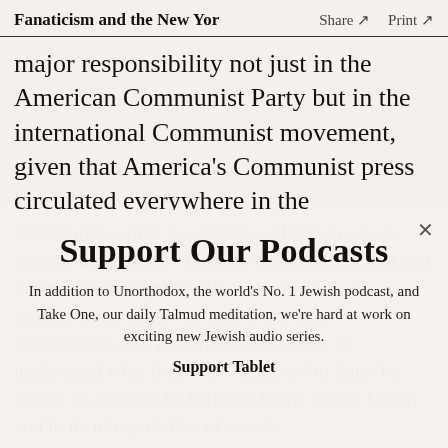Fanaticism and the New Yor     Share ↗     Print ↗
major responsibility not just in the American Communist Party but in the international Communist movement, given that America's Communist press circulated everywhere in the
Communist world. Joe Clark's obligation was to present world affairs from the Soviet standpoint and not to deviate significantly from the line—to present world affairs in such a way that Communists everywhere would be able to understand what they were supposed to think for him to do because he believed in the Soviet Union and in its interpretation of events.
Support Our Podcasts
In addition to Unorthodox, the world's No. 1 Jewish podcast, and Take One, our daily Talmud meditation, we're hard at work on exciting new Jewish audio series.
Support Tablet